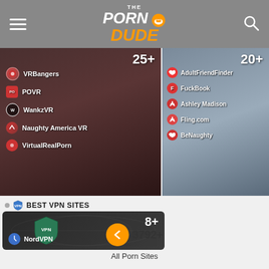The Porn Dude — navigation header with hamburger menu and search icon
[Figure (screenshot): VR porn sites panel showing 25+ sites including VRBangers, POVR, WankzVR, Naughty America VR, VirtualRealPorn]
[Figure (screenshot): Dating/hookup sites panel showing 20+ sites including AdultFriendFinder, FuckBook, Ashley Madison, Fling.com, BeNaughty]
BEST VPN SITES
[Figure (screenshot): VPN sites panel showing 8+ sites including NordVPN]
3792+
All Porn Sites